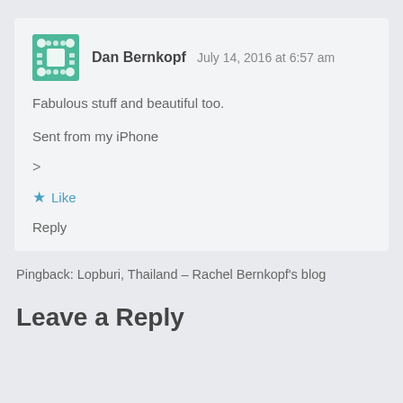[Figure (illustration): Green pixelated avatar icon for Dan Bernkopf]
Dan Bernkopf   July 14, 2016 at 6:57 am
Fabulous stuff and beautiful too.
Sent from my iPhone
>
★ Like
Reply
Pingback: Lopburi, Thailand – Rachel Bernkopf's blog
Leave a Reply